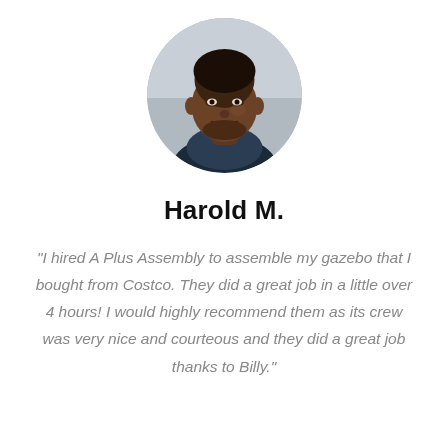[Figure (photo): Circular headshot photo of Harold M., a smiling man]
Harold M.
“I hired A Plus Assembly to assemble my gazebo that I bought from Costco. They did a great job in a little over 4 hours! I would highly recommend them as its crew was very nice and courteous and they did a great job thanks to Billy.”